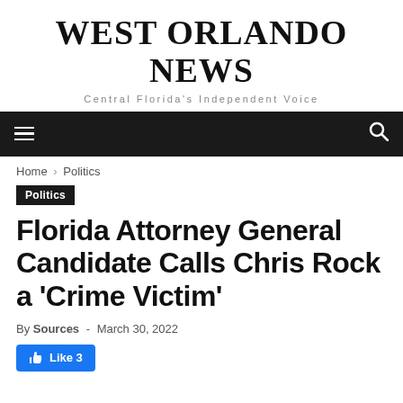WEST ORLANDO NEWS
Central Florida's Independent Voice
Home › Politics
Politics
Florida Attorney General Candidate Calls Chris Rock a 'Crime Victim'
By Sources - March 30, 2022
Like 3